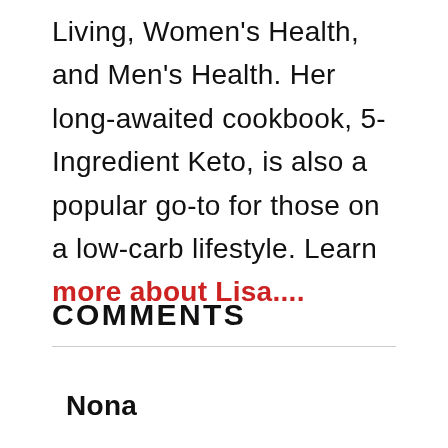Living, Women's Health, and Men's Health. Her long-awaited cookbook, 5-Ingredient Keto, is also a popular go-to for those on a low-carb lifestyle. Learn more about Lisa....
COMMENTS
Nona